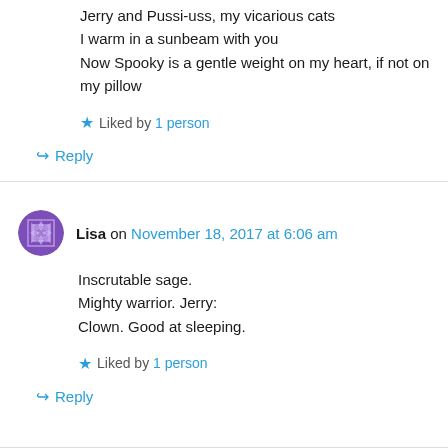Jerry and Pussi-uss, my vicarious cats
I warm in a sunbeam with you
Now Spooky is a gentle weight on my heart, if not on my pillow
★ Liked by 1 person
↪ Reply
Lisa on November 18, 2017 at 6:06 am
Inscrutable sage.
Mighty warrior. Jerry:
Clown. Good at sleeping.
★ Liked by 1 person
↪ Reply